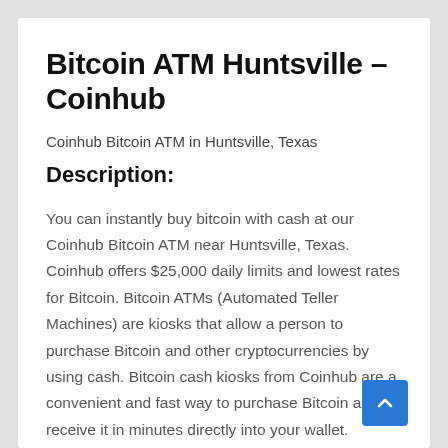Bitcoin ATM Huntsville – Coinhub
Coinhub Bitcoin ATM in Huntsville, Texas
Description:
You can instantly buy bitcoin with cash at our Coinhub Bitcoin ATM near Huntsville, Texas. Coinhub offers $25,000 daily limits and lowest rates for Bitcoin. Bitcoin ATMs (Automated Teller Machines) are kiosks that allow a person to purchase Bitcoin and other cryptocurrencies by using cash. Bitcoin cash kiosks from Coinhub are a convenient and fast way to purchase Bitcoin and receive it in minutes directly into your wallet. Coinhub Bitcoin machines are easy to use…